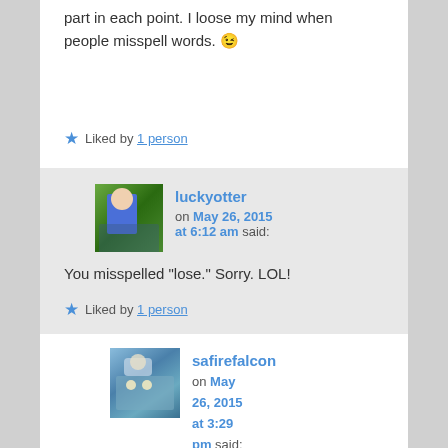part in each point. I loose my mind when people misspell words. 😉
★ Liked by 1 person
luckyotter on May 26, 2015 at 6:12 am said:
You misspelled "lose." Sorry. LOL!
★ Liked by 1 person
safirefalcon on May 26, 2015 at 3:29 pm said: